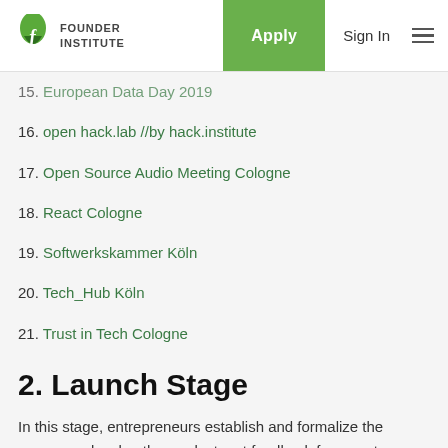Founder Institute — Apply | Sign In
15. European Data Day 2019 (partial, cut off)
16. open hack.lab //by hack.institute
17. Open Source Audio Meeting Cologne
18. React Cologne
19. Softwerkskammer Köln
20. Tech_Hub Köln
21. Trust in Tech Cologne
2. Launch Stage
In this stage, entrepreneurs establish and formalize the company, develop the product, get feedback from customers, and prepare for the next step.